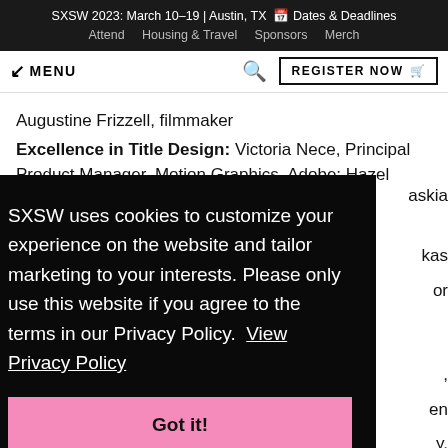SXSW 2023: March 10–19 | Austin, TX 📅 Dates & Deadlines
Attend   Housing & Travel   Sponsors   Merch
↙ MENU   🔍   REGISTER NOW 🛒
Augustine Frizzell, filmmaker
Excellence in Title Design: Victoria Nece, Principal Product Manager, Motion Graphics, Adobe; Hazel ...askia
SXSW uses cookies to customize your experience on the website and tailor marketing to your interests. Please only use this website if you agree to the terms in our Privacy Policy. View Privacy Policy
Got it!
...kas ...or , en y, TIME Studios